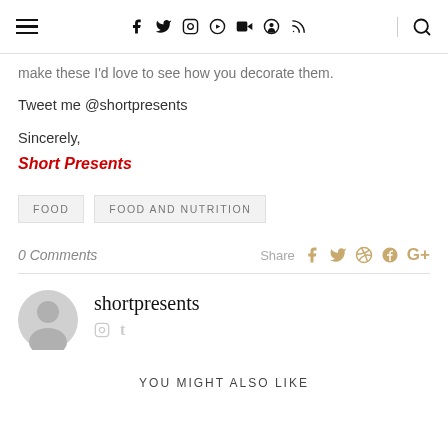Navigation header with hamburger menu, social icons (f, twitter, instagram, pinterest, youtube, snapchat, rss), and search icon
make these I'd love to see how you decorate them.
Tweet me @shortpresents
Sincerely,
Short Presents
FOOD
FOOD AND NUTRITION
0 Comments
Share
shortpresents
YOU MIGHT ALSO LIKE